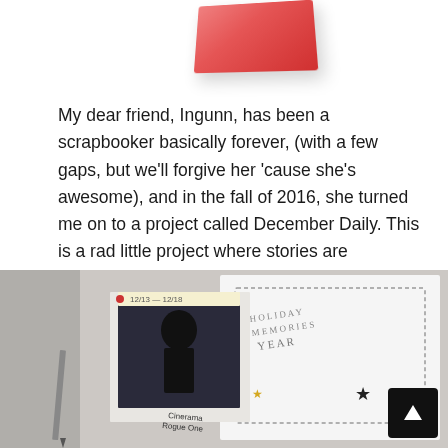[Figure (photo): Partial view of a pink/red box or book at the top of the page]
My dear friend, Ingunn, has been a scrapbooker basically forever, (with a few gaps, but we’ll forgive her ‘cause she’s awesome), and in the fall of 2016, she turned me on to a project called December Daily. This is a rad little project where stories are collected each day through the month of December, paired with pictures and ephemera and put into an album. Being a lover of all things Christmas and holiday themed, I was immediately intrigued, and wanted to participate.
[Figure (photo): A scrapbook album open, showing a photo of a person in a Darth Vader costume with text '12/13-12/18', a star sticker, and 'Cinerama Rogue One' text visible]